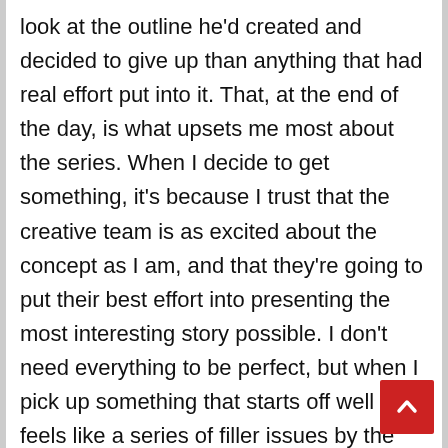look at the outline he'd created and decided to give up than anything that had real effort put into it. That, at the end of the day, is what upsets me most about the series. When I decide to get something, it's because I trust that the creative team is as excited about the concept as I am, and that they're going to put their best effort into presenting the most interesting story possible. I don't need everything to be perfect, but when I pick up something that starts off well but feels like a series of filler issues by the end, I'm let down. My expectations – which are pretty simple; I just want to be entertained – have not been met, and there's no demanding a refund for a crappy book. Lazy writing is the real kicker in this series.